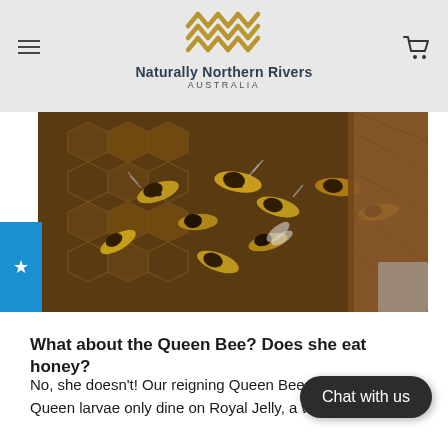Naturally Northern Rivers AUSTRALIA
[Figure (photo): Close-up photograph of honeybees on a honeycomb frame with hexagonal cells visible. Many bees are clustered on the wooden frame.]
What about the Queen Bee?  Does she eat honey?
No, she doesn't!  Our reigning Queen Bee and future Queen larvae only dine on Royal Jelly, a white
Chat with us